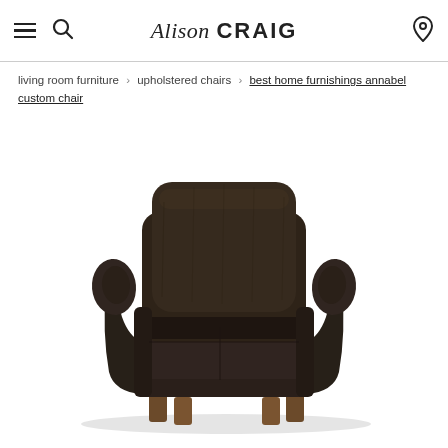Alison CRAIG
living room furniture > upholstered chairs > best home furnishings annabel custom chair
[Figure (photo): A dark brown upholstered armchair with rolled arms, a large back cushion, a seat cushion, and four short wooden legs, photographed on a white background.]